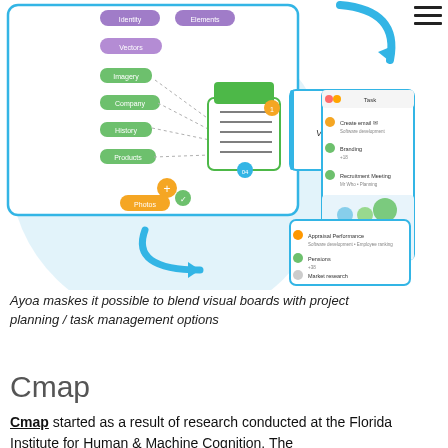[Figure (screenshot): Screenshot composite of Ayoa app showing a visual mind map/board with coloured nodes (purple, green, orange) connected by lines and dashed arrows, a task checklist pop-up, a 'Visual IDENTITY' card, and a project management task list panel on the right with tasks like 'Create email', 'Branding', 'Recruitment Meeting', 'Market research', 'Personnel', 'Information technology'. A large blue curved arrow and a smaller blue right arrow connect the panels. The background has a light blue circular shape.]
Ayoa maskes it possible to blend visual boards with project planning / task management options
Cmap
Cmap started as a result of research conducted at the Florida Institute for Human & Machine Cognition. The